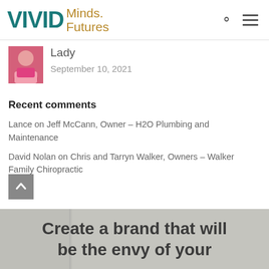VIVID Minds. Futures
Lady
September 10, 2021
Recent comments
Lance on Jeff McCann, Owner – H2O Plumbing and Maintenance
David Nolan on Chris and Tarryn Walker, Owners – Walker Family Chiropractic
[Figure (photo): Promotional banner with text: Create a brand that will be the envy of your]